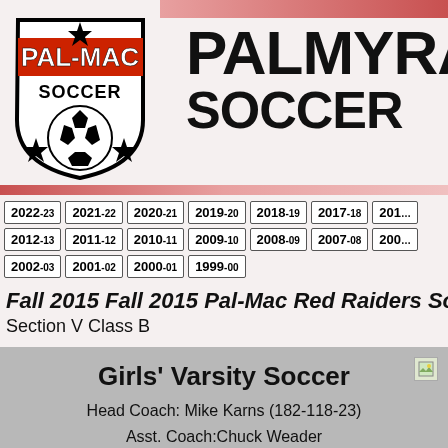[Figure (logo): Pal-Mac Soccer shield logo with soccer ball, stars, and red/black text]
PALMYRA SOCCER
2022-23
2021-22
2020-21
2019-20
2018-19
2017-18
2012-13
2011-12
2010-11
2009-10
2008-09
2007-08
2002-03
2001-02
2000-01
1999-00
Fall 2015 Fall 2015 Pal-Mac Red Raiders Soccer
Section V Class B
Girls' Varsity Soccer
Head Coach: Mike Karns (182-118-23)
Asst. Coach:Chuck Weader
Section V Girls' Soccer